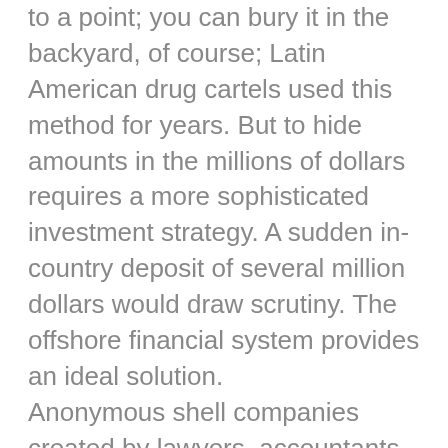to a point; you can bury it in the backyard, of course; Latin American drug cartels used this method for years. But to hide amounts in the millions of dollars requires a more sophisticated investment strategy. A sudden in-country deposit of several million dollars would draw scrutiny. The offshore financial system provides an ideal solution.
Anonymous shell companies created by lawyers, accountants, and other corporate formation agents provide the necessary secrecy for the criminal and the corrupt to steal and hide funds with impunity. Stolen funds, laundered through a series offshore corporate structures with secret ownership, come out “clean” and ready to use for luxury items and a lavish lifestyle.
This secrecy, however, comes at a cost that can’t be hidden. Experts estimate that less-developed